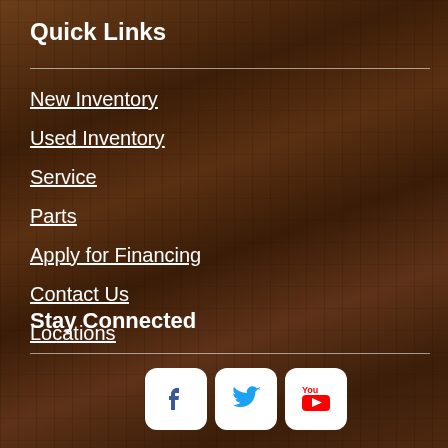Quick Links
New Inventory
Used Inventory
Service
Parts
Apply for Financing
Contact Us
Locations
Stay Connected
[Figure (infographic): Social media icons: Facebook, Twitter, YouTube, and a green Text Us button]